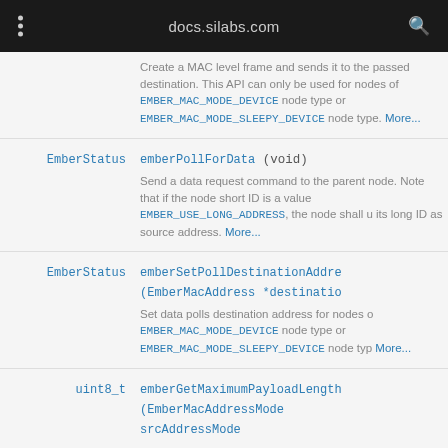docs.silabs.com
Create a MAC level frame and sends it to the passed destination. This API can only be used for nodes of EMBER_MAC_MODE_DEVICE node type or EMBER_MAC_MODE_SLEEPY_DEVICE node type. More...
EmberStatus emberPollForData (void) — Send a data request command to the parent node. Note that if the node short ID is a value EMBER_USE_LONG_ADDRESS, the node shall use its long ID as source address. More...
EmberStatus emberSetPollDestinationAddress (EmberMacAddress *destination) — Set data polls destination address for nodes of EMBER_MAC_MODE_DEVICE node type or EMBER_MAC_MODE_SLEEPY_DEVICE node type. More...
uint8_t emberGetMaximumPayloadLength (EmberMacAddressMode srcAddressMode...